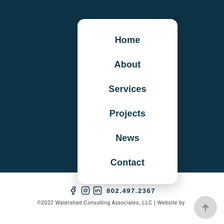Home
About
Services
Projects
News
Contact
802.497.2367
©2022 Watershed Consulting Associates, LLC | Website by …